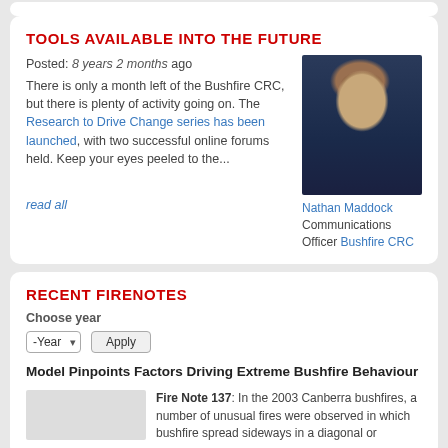TOOLS AVAILABLE INTO THE FUTURE
Posted: 8 years 2 months ago There is only a month left of the Bushfire CRC, but there is plenty of activity going on. The Research to Drive Change series has been launched, with two successful online forums held. Keep your eyes peeled to the...
read all
[Figure (photo): Portrait photo of Nathan Maddock, Communications Officer at Bushfire CRC]
Nathan Maddock Communications Officer Bushfire CRC
RECENT FIRENOTES
Choose year
-Year  Apply
Model Pinpoints Factors Driving Extreme Bushfire Behaviour
Fire Note 137: In the 2003 Canberra bushfires, a number of unusual fires were observed in which bushfire spread sideways in a diagonal or...